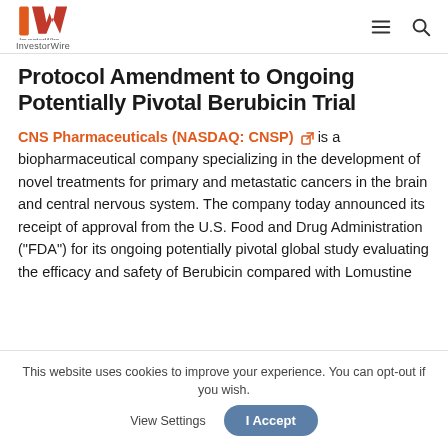InvestorWire
Protocol Amendment to Ongoing Potentially Pivotal Berubicin Trial
CNS Pharmaceuticals (NASDAQ: CNSP) is a biopharmaceutical company specializing in the development of novel treatments for primary and metastatic cancers in the brain and central nervous system. The company today announced its receipt of approval from the U.S. Food and Drug Administration ("FDA") for its ongoing potentially pivotal global study evaluating the efficacy and safety of Berubicin compared with Lomustine
This website uses cookies to improve your experience. You can opt-out if you wish. View Settings I Accept